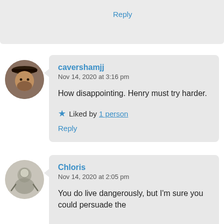Reply
[Figure (photo): Circular avatar photo of a person wearing a hat, dark toned image]
cavershamjj
Nov 14, 2020 at 3:16 pm

How disappointing. Henry must try harder.

★ Liked by 1 person

Reply
[Figure (illustration): Circular avatar image showing a sketched/illustrated figure, gray tones]
Chloris
Nov 14, 2020 at 2:05 pm

You do live dangerously, but I'm sure you could persuade the